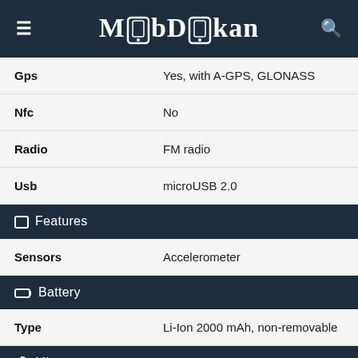MobDokan
| Feature | Value |
| --- | --- |
| Gps | Yes, with A-GPS, GLONASS |
| Nfc | No |
| Radio | FM radio |
| Usb | microUSB 2.0 |
| Features |  |
| Sensors | Accelerometer |
| Battery |  |
| Type | Li-Ion 2000 mAh, non-removable |
| Misc |  |
| Colors | Black, Blue |
| Price | About 60 EUR |